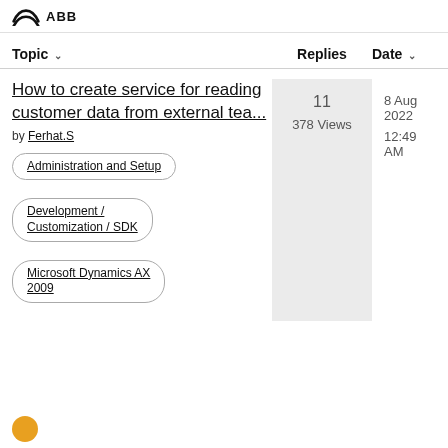ABB
| Topic | Replies | Date |
| --- | --- | --- |
| How to create service for reading customer data from external tea... by Ferhat.S | 11
378 Views | 8 Aug 2022
12:49 AM |
Administration and Setup
Development / Customization / SDK
Microsoft Dynamics AX 2009